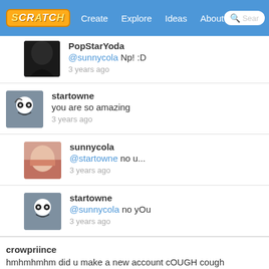SCRATCH | Create | Explore | Ideas | About | Search
PopStarYoda
@sunnycola Np! :D
3 years ago
startowne
you are so amazing
3 years ago
sunnycola
@startowne no u...
3 years ago
startowne
@sunnycola no yOu
3 years ago
crowpriince
hmhmhmhm did u make a new account cOUGH cough